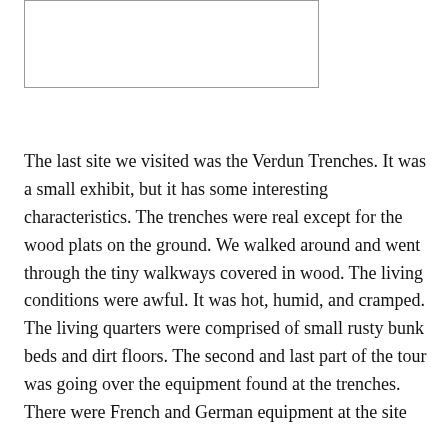[Figure (other): Empty bordered image placeholder box]
The last site we visited was the Verdun Trenches. It was a small exhibit, but it has some interesting characteristics. The trenches were real except for the wood plats on the ground. We walked around and went through the tiny walkways covered in wood. The living conditions were awful. It was hot, humid, and cramped. The living quarters were comprised of small rusty bunk beds and dirt floors. The second and last part of the tour was going over the equipment found at the trenches. There were French and German equipment at the site...